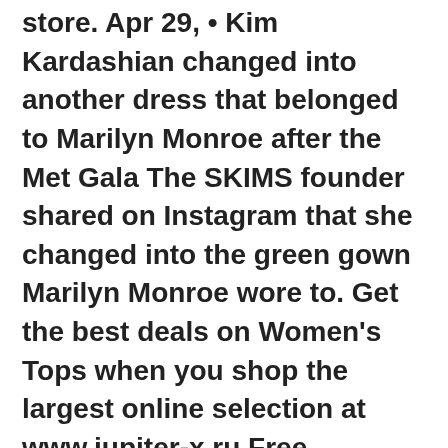store. Apr 29, • Kim Kardashian changed into another dress that belonged to Marilyn Monroe after the Met Gala The SKIMS founder shared on Instagram that she changed into the green gown Marilyn Monroe wore to. Get the best deals on Women's Tops when you shop the largest online selection at www.jupiter-x.ru Free shipping on many items | Browse your favorite brands | affordable prices.
VIDEO